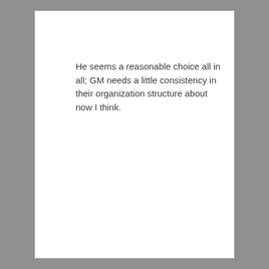He seems a reasonable choice all in all; GM needs a little consistency in their organization structure about now I think.